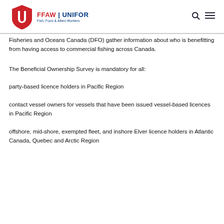FFAW | UNIFOR — Fish, Food & Allied Workers
Fisheries and Oceans Canada (DFO) gather information about who is benefitting from having access to commercial fishing across Canada.
The Beneficial Ownership Survey is mandatory for all:
party-based licence holders in Pacific Region
contact vessel owners for vessels that have been issued vessel-based licences in Pacific Region
offshore, mid-shore, exempted fleet, and inshore Elver licence holders in Atlantic Canada, Quebec and Arctic Region